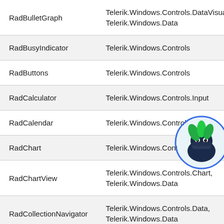| Control | Namespace |
| --- | --- |
| RadBulletGraph | Telerik.Windows.Controls.DataVisualization, Telerik.Windows.Data |
| RadBusyIndicator | Telerik.Windows.Controls |
| RadButtons | Telerik.Windows.Controls |
| RadCalculator | Telerik.Windows.Controls.Input |
| RadCalendar | Telerik.Windows.Controls.Input |
| RadChart | Telerik.Windows.Controls.Charting |
| RadChartView | Telerik.Windows.Controls.Chart, Telerik.Windows.Data |
| RadCollectionNavigator | Telerik.Windows.Controls.Data, Telerik.Windows.Data |
[Figure (illustration): Ninja mascot character with green hair and blue circle background, overlapping the table]